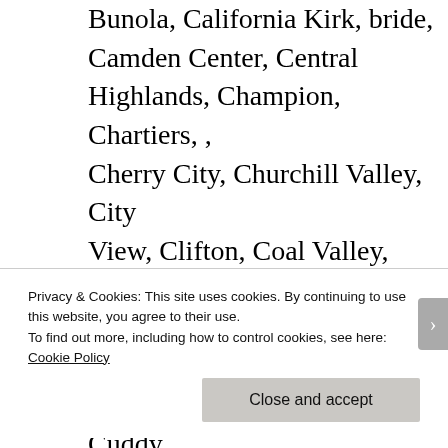Bunola, California Kirk, bride, Camden Center, Central Highlands, Champion, Chartiers, , Cherry City, Churchill Valley, City View, Clifton, Coal Valley, Cochrans Mill, , Compton, Coraopolis Heights, Cork, Coulter, Creighton, Crescent Hills, Cuddy Hill, Culmerville, Curry, Dixmont, Dorseyville, Douglass, , Dravosburg, Dravo, Griffith, Gi...
Privacy & Cookies: This site uses cookies. By continuing to use this website, you agree to their use.
To find out more, including how to control cookies, see here: Cookie Policy
Close and accept